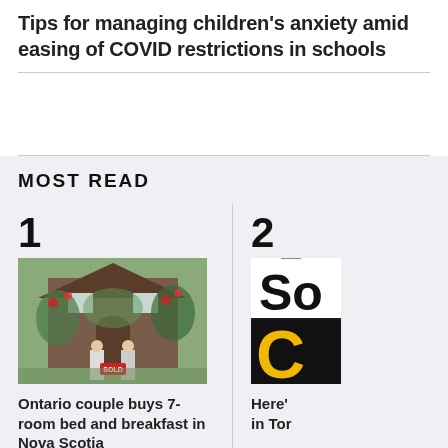Tips for managing children's anxiety amid easing of COVID restrictions in schools
MOST READ
[Figure (photo): Photo of a couple standing in front of a house holding a SOLD sign, surrounded by lush garden]
Ontario couple buys 7-room bed and breakfast in Nova Scotia
[Figure (photo): Partially visible sign with letters 'So' and 'C' in yellow on black background]
Here' in Tor